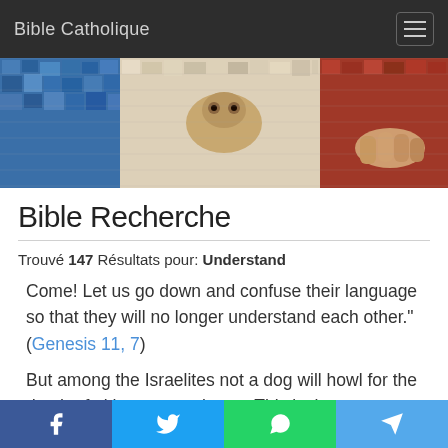Bible Catholique
[Figure (illustration): Mosaic artwork banner showing religious figures and a lamb in colorful tile mosaic style]
Bible Recherche
Trouvé 147 Résultats pour: Understand
Come! Let us go down and confuse their language so that they will no longer understand each other." (Genesis 11, 7)
But among the Israelites not a dog will howl for the death of either man or beast. This is that you may
f  Twitter  WhatsApp  Telegram